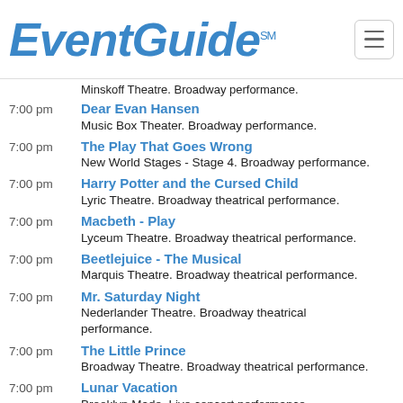EventGuide℠
Minskoff Theatre. Broadway performance.
7:00 pm — Dear Evan Hansen — Music Box Theater. Broadway performance.
7:00 pm — The Play That Goes Wrong — New World Stages - Stage 4. Broadway performance.
7:00 pm — Harry Potter and the Cursed Child — Lyric Theatre. Broadway theatrical performance.
7:00 pm — Macbeth - Play — Lyceum Theatre. Broadway theatrical performance.
7:00 pm — Beetlejuice - The Musical — Marquis Theatre. Broadway theatrical performance.
7:00 pm — Mr. Saturday Night — Nederlander Theatre. Broadway theatrical performance.
7:00 pm — The Little Prince — Broadway Theatre. Broadway theatrical performance.
7:00 pm — Lunar Vacation — Brooklyn Made. Live concert performance.
7:00 pm — Nick Lutsko and The $100K Band — Bowery Ballroom. Pop / rock performance.
7:00 pm — Alex Edelman: Just For Us